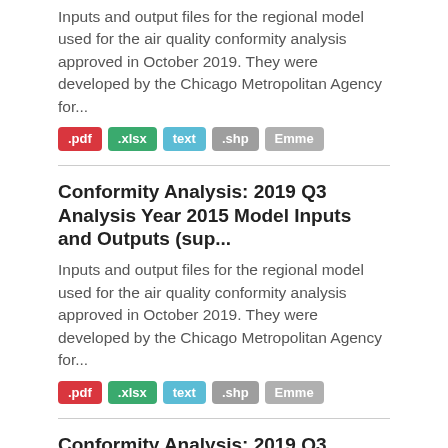Inputs and output files for the regional model used for the air quality conformity analysis approved in October 2019. They were developed by the Chicago Metropolitan Agency for...
.pdf .xlsx text .shp Emme
Conformity Analysis: 2019 Q3 Analysis Year 2015 Model Inputs and Outputs (sup...
Inputs and output files for the regional model used for the air quality conformity analysis approved in October 2019. They were developed by the Chicago Metropolitan Agency for...
.pdf .xlsx text .shp Emme
Conformity Analysis: 2019 Q3 Analysis Year 2020 Model Inputs and Outputs (sup...
Inputs and output files for the regional model used for the air quality conformity analysis approved in October 2019. They were developed by the Chicago Metropolitan Agency for...
.pdf .xlsx text .shp Emme